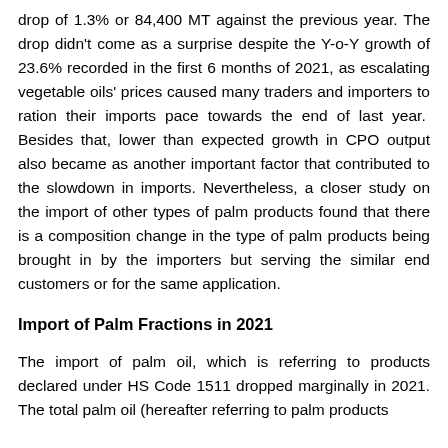drop of 1.3% or 84,400 MT against the previous year. The drop didn't come as a surprise despite the Y-o-Y growth of 23.6% recorded in the first 6 months of 2021, as escalating vegetable oils' prices caused many traders and importers to ration their imports pace towards the end of last year. Besides that, lower than expected growth in CPO output also became as another important factor that contributed to the slowdown in imports. Nevertheless, a closer study on the import of other types of palm products found that there is a composition change in the type of palm products being brought in by the importers but serving the similar end customers or for the same application.
Import of Palm Fractions in 2021
The import of palm oil, which is referring to products declared under HS Code 1511 dropped marginally in 2021. The total palm oil (hereafter referring to palm products